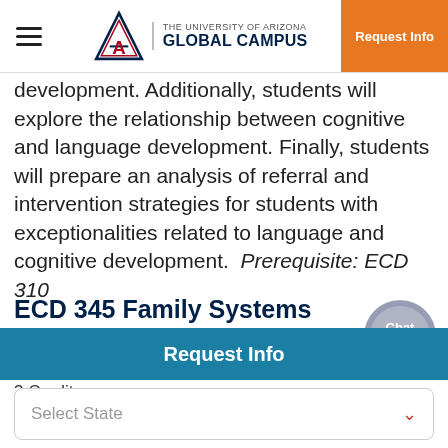THE UNIVERSITY OF ARIZONA GLOBAL CAMPUS | Request Info
development. Additionally, students will explore the relationship between cognitive and language development. Finally, students will prepare an analysis of referral and intervention strategies for students with exceptionalities related to language and cognitive development. Prerequisite: ECD 310
ECD 345 Family Systems and Community Resources
3 Credits
Request Info
Select State